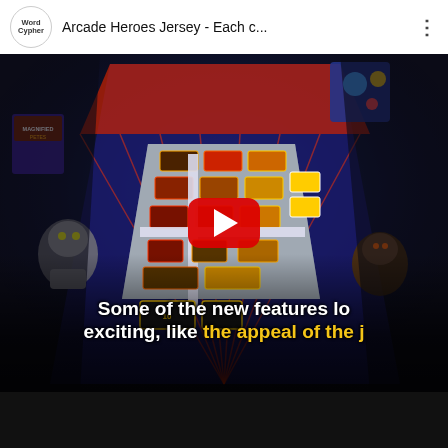WordCypher — Arcade Heroes Jersey - Each c...
[Figure (screenshot): YouTube video screenshot showing a pinball machine table (Arcade Heroes Jersey) viewed from above, with colorful lights, bumpers, and game elements. A large red YouTube play button appears centered on the video thumbnail. Subtitle text at bottom reads: 'Some of the new features lo exciting, like the appeal of the j' with the last phrase in yellow.]